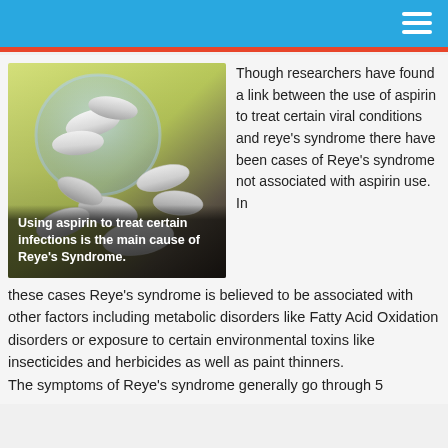[Figure (photo): Aspirin tablets spilling out of a glass jar on a yellow-green background, with white round pills scattered on a dark surface]
Using aspirin to treat certain infections is the main cause of Reye's Syndrome.
Though researchers have found a link between the use of aspirin to treat certain viral conditions and reye's syndrome there have been cases of Reye's syndrome not associated with aspirin use.  In these cases Reye's syndrome is believed to be associated with other factors including metabolic disorders like Fatty Acid Oxidation disorders or exposure to certain environmental toxins like insecticides and herbicides as well as paint thinners. The symptoms of Reye's syndrome generally go through 5